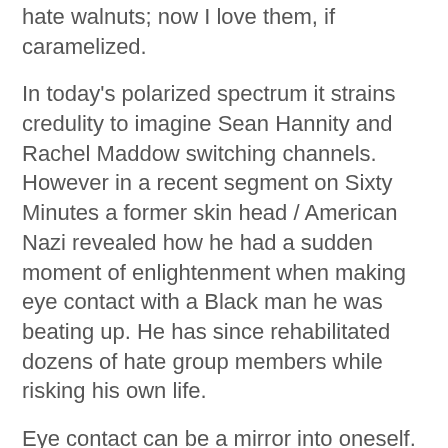hate walnuts; now I love them, if caramelized.
In today's polarized spectrum it strains credulity to imagine Sean Hannity and Rachel Maddow switching channels. However in a recent segment on Sixty Minutes a former skin head / American Nazi revealed how he had a sudden moment of enlightenment when making eye contact with a Black man he was beating up. He has since rehabilitated dozens of hate group members while risking his own life.
Eye contact can be a mirror into oneself. Trump is, of course, beyond repair but there must be others with a full functioning brain and consciousness capable of compassion. A few retiring Senators, no longer for sale, have dared utter truth in defiance of their benefactors, at least rhetorically. Faustian pacts have their expiration dates.